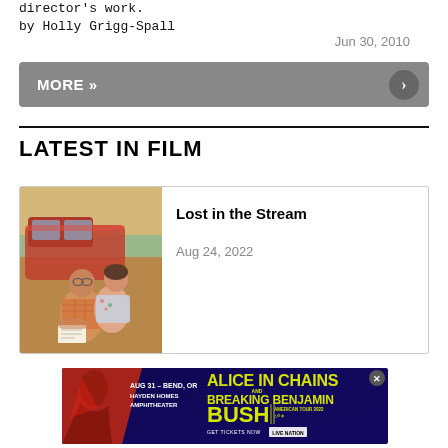director's work.
by Holly Grigg-Spall
Jun 30, 2010
MORE »
LATEST IN FILM
[Figure (photo): Movie still showing a man and woman sitting together near a vehicle outdoors]
Lost in the Stream
Aug 24, 2022
[Figure (advertisement): Alice in Chains and Breaking Benjamin Bush American Tour 2022 advertisement. Aug 31 - Bend, OR, Hayden Homes Amphitheater. Get Tickets Now Live Nation.]